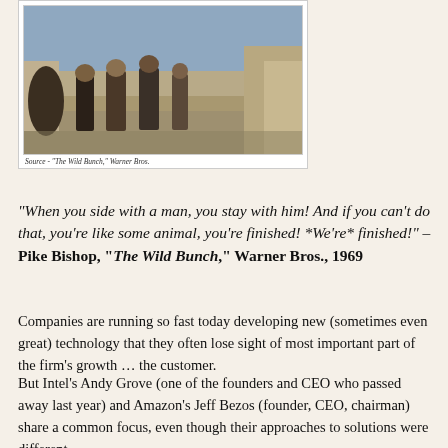[Figure (photo): Scene from The Wild Bunch showing cowboys/gunslingers walking down a street, with a horse visible on the left side]
Source - "The Wild Bunch," Warner Bros.
“When you side with a man, you stay with him! And if you can’t do that, you’re like some animal, you’re finished! *We’re* finished!” – Pike Bishop, “The Wild Bunch,” Warner Bros., 1969
Companies are running so fast today developing new (sometimes even great) technology that they often lose sight of most important part of the firm’s growth … the customer.
But Intel’s Andy Grove (one of the founders and CEO who passed away last year) and Amazon’s Jeff Bezos (founder, CEO, chairman) share a common focus, even though their approaches to solutions were different.
Both had engineering backgrounds but Grove was focused on